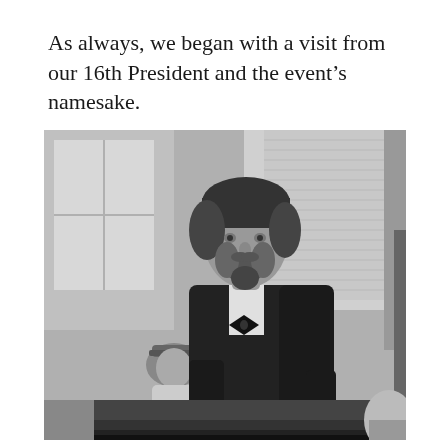As always, we began with a visit from our 16th President and the event's namesake.
[Figure (photo): Black and white photograph of a person dressed as Abraham Lincoln (dark suit, bow tie, beard) standing and facing slightly left. In the background, another person in a cap is seated. The setting appears to be an indoor event.]